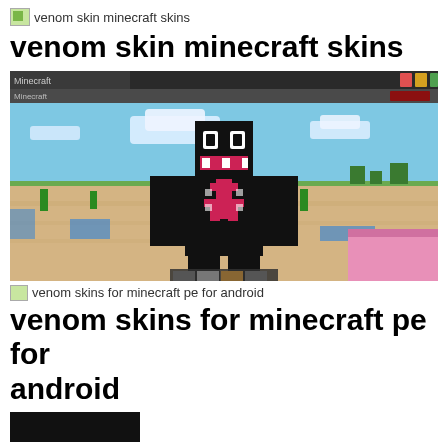venom skin minecraft skins
venom skin minecraft skins
[Figure (screenshot): Screenshot of Minecraft game showing a Venom-themed player skin (black character with white spider symbol) standing in a desert biome with blue sky and clouds. A pink block is visible in the bottom right corner. The screenshot has a browser/window title bar at the top.]
venom skins for minecraft pe for android
venom skins for minecraft pe for android
[Figure (screenshot): Partial screenshot visible at bottom of page, black thumbnail.]